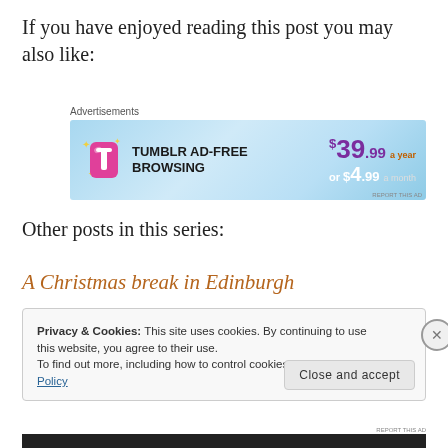If you have enjoyed reading this post you may also like:
[Figure (screenshot): Tumblr Ad-Free Browsing advertisement banner showing '$39.99 a year or $4.99 a month' pricing]
Other posts in this series:
A Christmas break in Edinburgh
Privacy & Cookies: This site uses cookies. By continuing to use this website, you agree to their use.
To find out more, including how to control cookies, see here: Privacy Policy